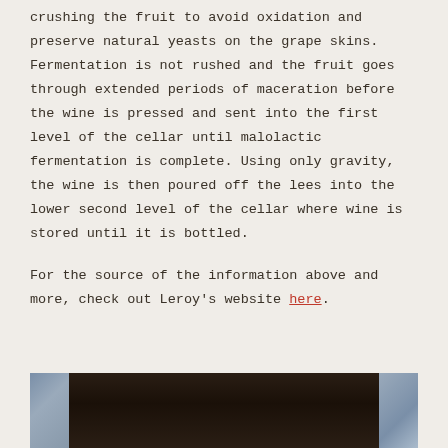crushing the fruit to avoid oxidation and preserve natural yeasts on the grape skins. Fermentation is not rushed and the fruit goes through extended periods of maceration before the wine is pressed and sent into the first level of the cellar until malolactic fermentation is complete. Using only gravity, the wine is then poured off the lees into the lower second level of the cellar where wine is stored until it is bottled.
For the source of the information above and more, check out Leroy's website here.
[Figure (photo): Partial photo showing what appears to be a dark wine bottle in the center with blurred light-colored background on either side]